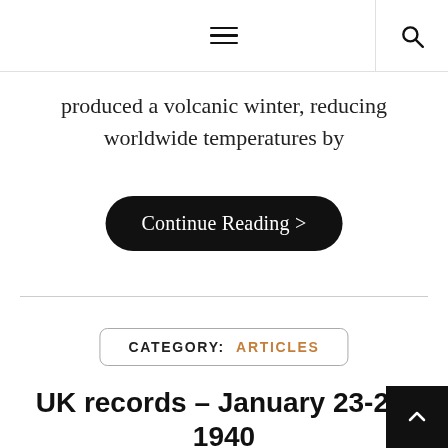≡  🔍
produced a volcanic winter, reducing worldwide temperatures by
Continue Reading >
CATEGORY: ARTICLES
UK records – January 23-29, 1940 – Data not used for climate research